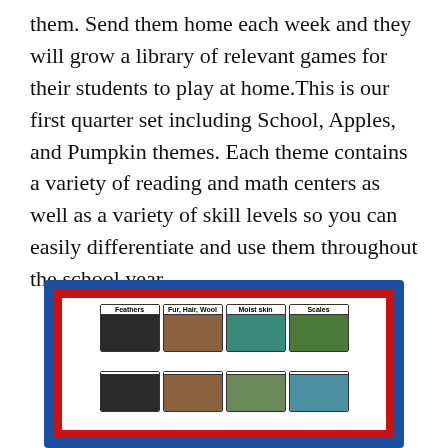them. Send them home each week and they will grow a library of relevant games for their students to play at home.This is our first quarter set including School, Apples, and Pumpkin themes. Each theme contains a variety of reading and math centers as well as a variety of skill levels so you can easily differentiate and use them throughout the school year.
[Figure (photo): Educational cards displayed in a blue and red bordered frame, showing animal classification cards labeled Feathers, Fur Hair Wool, Moist skin, and Scales with corresponding animal photos]